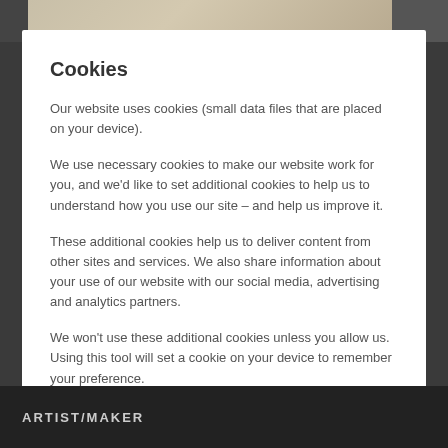[Figure (photo): Top portion of a museum/gallery website page visible behind a cookie consent modal, showing partial image of an artifact]
Cookies
Our website uses cookies (small data files that are placed on your device).
We use necessary cookies to make our website work for you, and we'd like to set additional cookies to help us to understand how you use our site – and help us improve it.
These additional cookies help us to deliver content from other sites and services. We also share information about your use of our website with our social media, advertising and analytics partners.
We won't use these additional cookies unless you allow us. Using this tool will set a cookie on your device to remember your preference.
Cookie policy
Manage cookie settings
Accept additional cookies
ARTIST/MAKER